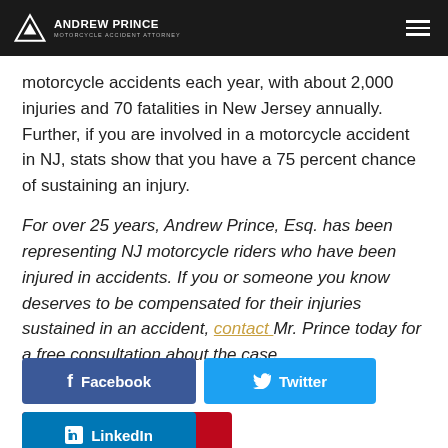ANDREW PRINCE MOTORCYCLE ACCIDENT ATTORNEY
motorcycle accidents each year, with about 2,000 injuries and 70 fatalities in New Jersey annually. Further, if you are involved in a motorcycle accident in NJ, stats show that you have a 75 percent chance of sustaining an injury.
For over 25 years, Andrew Prince, Esq. has been representing NJ motorcycle riders who have been injured in accidents. If you or someone you know deserves to be compensated for their injuries sustained in an accident, contact Mr. Prince today for a free consultation about the case.
Facebook
Twitter
Pinterest
LinkedIn